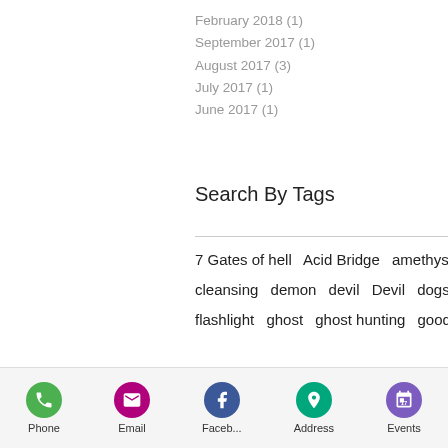February 2018 (1)
September 2017 (1)
August 2017 (3)
July 2017 (1)
June 2017 (1)
Search By Tags
7 Gates of hell   Acid Bridge   amethyst\   batteries   battery drain   Cahokia   City of St. louis   cleansing   demon   devil   Devil   dogs   Ead's Bridge   EMF   equipment   evil   evil spirits   fear   flashlight   ghost   ghost hunting   good bye   Grand Climax   Haunted   haunted house
Phone   Email   Faceb...   Address   Events